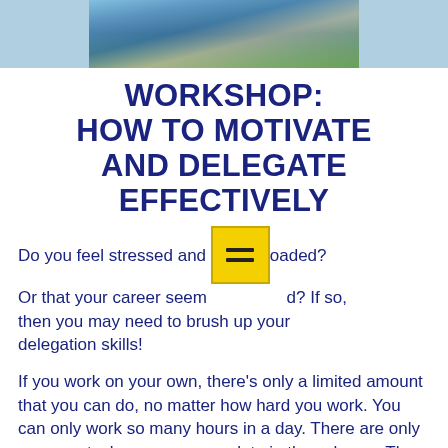[Figure (photo): Partial photo showing people cycling or exercising near a building, cropped to show only the top portion]
WORKSHOP: HOW TO MOTIVATE AND DELEGATE EFFECTIVELY
Do you feel stressed and overloaded? Or that your career seems stalled? If so, then you may need to brush up your delegation skills!
If you work on your own, there's only a limited amount that you can do, no matter how hard you work. You can only work so many hours in a day. There are only so many tasks you can complete in these hours. There are only so many people you can help by